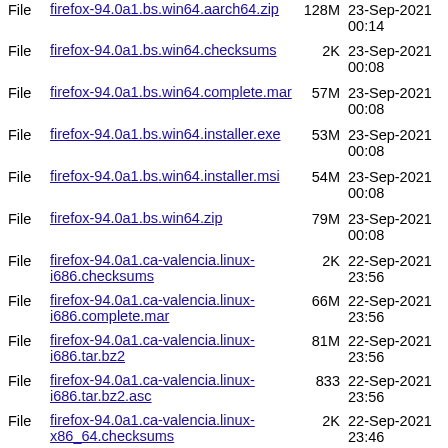File firefox-94.0a1.bs.win64.aarch64.zip 128M 23-Sep-2021 00:14
File firefox-94.0a1.bs.win64.checksums 2K 23-Sep-2021 00:08
File firefox-94.0a1.bs.win64.complete.mar 57M 23-Sep-2021 00:08
File firefox-94.0a1.bs.win64.installer.exe 53M 23-Sep-2021 00:08
File firefox-94.0a1.bs.win64.installer.msi 54M 23-Sep-2021 00:08
File firefox-94.0a1.bs.win64.zip 79M 23-Sep-2021 00:08
File firefox-94.0a1.ca-valencia.linux-i686.checksums 2K 22-Sep-2021 23:56
File firefox-94.0a1.ca-valencia.linux-i686.complete.mar 66M 22-Sep-2021 23:56
File firefox-94.0a1.ca-valencia.linux-i686.tar.bz2 81M 22-Sep-2021 23:56
File firefox-94.0a1.ca-valencia.linux-i686.tar.bz2.asc 833 22-Sep-2021 23:56
File firefox-94.0a1.ca-valencia.linux-x86_64.checksums 2K 22-Sep-2021 23:46
File firefox-94.0a1.ca-valencia.linux-x86_64.complete.mar 64M 22-Sep-2021 23:45